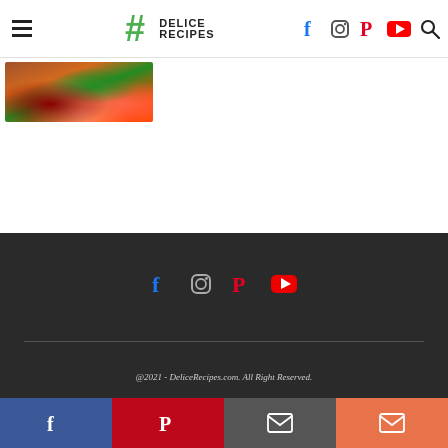Delice Recipes — navigation header with hamburger menu, logo, and social icons (Facebook, Instagram, Pinterest, YouTube, Search)
[Figure (photo): Food photo showing colorful dish with meat, greens, and vegetables]
Footer with social icons (Facebook, Instagram, Pinterest, YouTube), divider line, and copyright: @2021 - DeliceRecipes.com. All Right Reserved.
Share bar: Facebook, Pinterest, Email, Share buttons